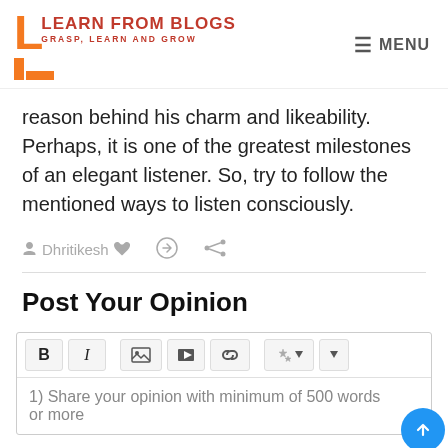LEARN FROM BLOGS — GRASP, LEARN AND GROW | MENU
reason behind his charm and likeability. Perhaps, it is one of the greatest milestones of an elegant listener. So, try to follow the mentioned ways to listen consciously.
Dhritikesh
Post Your Opinion
1) Share your opinion with minimum of 500 words or more